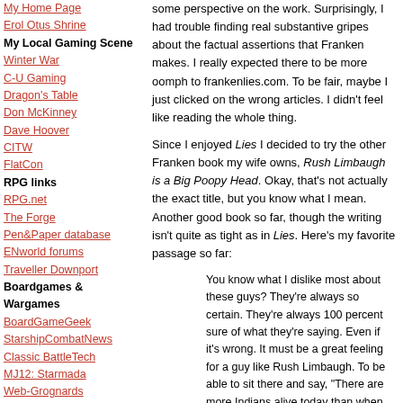My Home Page
Erol Otus Shrine
My Local Gaming Scene
Winter War
C-U Gaming
Dragon's Table
Don McKinney
Dave Hoover
CITW
FlatCon
RPG links
RPG.net
The Forge
Pen&Paper database
ENworld forums
Traveller Downport
Boardgames & Wargames
BoardGameGeek
StarshipCombatNews
Classic BattleTech
MJ12: Starmada
Web-Grognards
Ancients
Chess
Chess Variants
ItsYourTurn
some perspective on the work. Surprisingly, I had trouble finding real substantive gripes about the factual assertions that Franken makes. I really expected there to be more oomph to frankenlies.com. To be fair, maybe I just clicked on the wrong articles. I didn't feel like reading the whole thing.
Since I enjoyed Lies I decided to try the other Franken book my wife owns, Rush Limbaugh is a Big Poopy Head. Okay, that's not actually the exact title, but you know what I mean. Another good book so far, though the writing isn't quite as tight as in Lies. Here's my favorite passage so far:
You know what I dislike most about these guys? They're always so certain. They're always 100 percent sure of what they're saying. Even if it's wrong. It must be a great feeling for a guy like Rush Limbaugh. To be able to sit there and say, "There are more Indians alive today than when Columbus landed," and really believe it.
This is why I like being a Democrat. When we see a complicated, semmingly intractable problem, we have the only really genuine, authentic